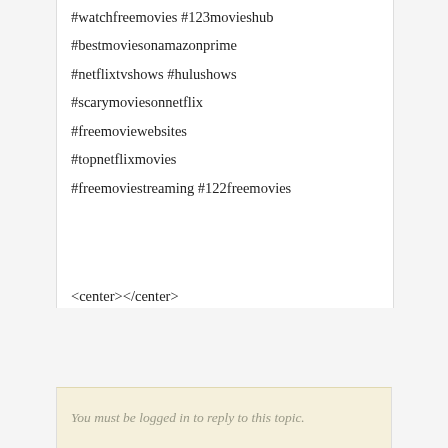#watchfreemovies #123movieshub #bestmoviesonamazonprime #netflixtvshows #hulushows #scarymoviesonnetflix #freemoviewebsites #topnetflixmovies #freemoviestreaming #122freemovies
<center></center>
You must be logged in to reply to this topic.